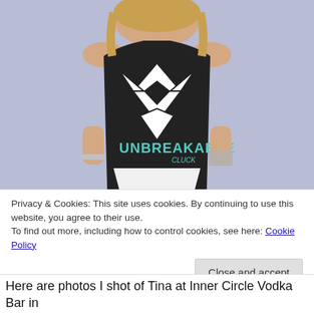[Figure (photo): Woman wearing a black sleeveless tank top with a large white diamond graphic and the word UNBREAKABLE in teal/mint letters, with white shorts, against a light purple/lavender background.]
Privacy & Cookies: This site uses cookies. By continuing to use this website, you agree to their use.
To find out more, including how to control cookies, see here: Cookie Policy
Close and accept
Here are photos I shot of Tina at Inner Circle Vodka Bar in